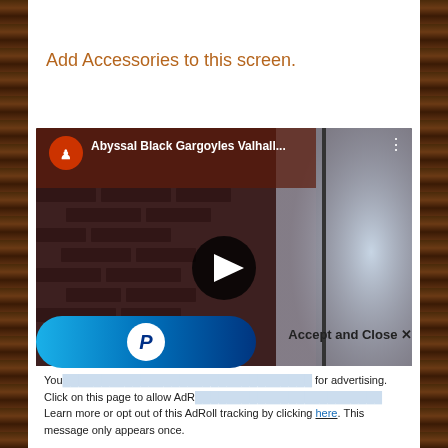Add Accessories to this screen.
[Figure (screenshot): YouTube video thumbnail showing 'Abyssal Black Gargoyles Valhall...' with a play button, brick-textured book/screen in background, channel icon with red dragon/lion logo]
[Figure (logo): PayPal blue pill-shaped button with PayPal 'P' logo in white circle]
Accept and Close ✕
You [text obscured] for advertising. Click on this page to allow AdR[text obscured] Learn more or opt out of this AdRoll tracking by clicking here. This message only appears once.